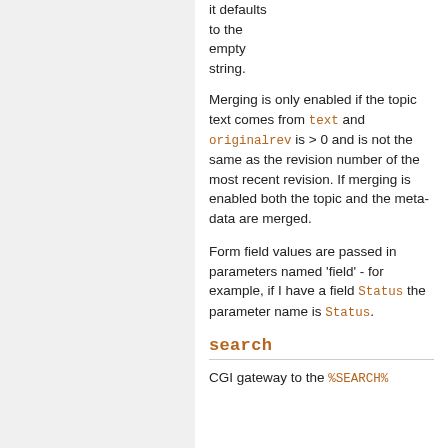it defaults to the empty string.
Merging is only enabled if the topic text comes from text and originalrev is > 0 and is not the same as the revision number of the most recent revision. If merging is enabled both the topic and the meta-data are merged.
Form field values are passed in parameters named 'field' - for example, if I have a field Status the parameter name is Status.
search
CGI gateway to the %SEARCH%